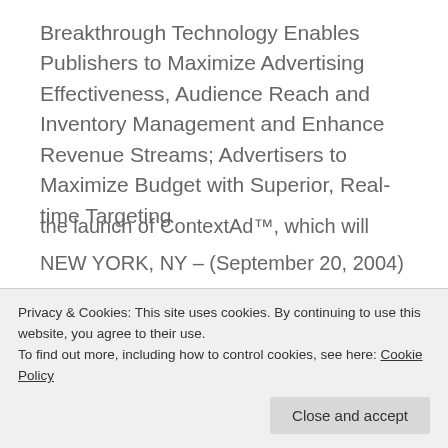Breakthrough Technology Enables Publishers to Maximize Advertising Effectiveness, Audience Reach and Inventory Management and Enhance Revenue Streams; Advertisers to Maximize Budget with Superior, Real-time Targeting
NEW YORK, NY – (September 20, 2004) – ContextWeb, Inc., a leading provider of
the launch of ContextAd™, which will
Privacy & Cookies: This site uses cookies. By continuing to use this website, you agree to their use.
To find out more, including how to control cookies, see here: Cookie Policy